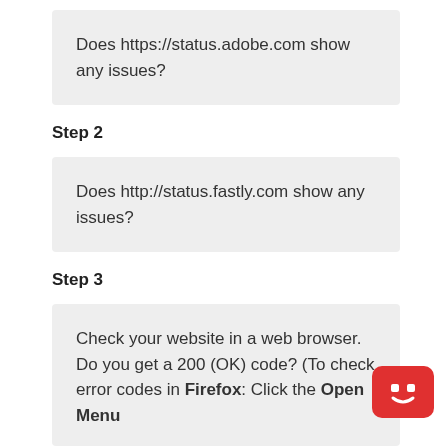Does https://status.adobe.com show any issues?
Step 2
Does http://status.fastly.com show any issues?
Step 3
Check your website in a web browser. Do you get a 200 (OK) code? (To check error codes in Firefox: Click the Open Menu